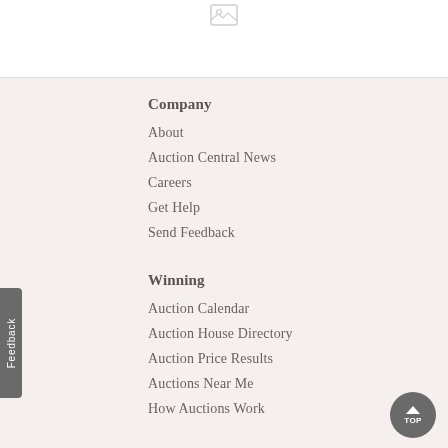[Figure (other): Placeholder image icon at top of page]
Company
About
Auction Central News
Careers
Get Help
Send Feedback
Winning
Auction Calendar
Auction House Directory
Auction Price Results
Auctions Near Me
How Auctions Work